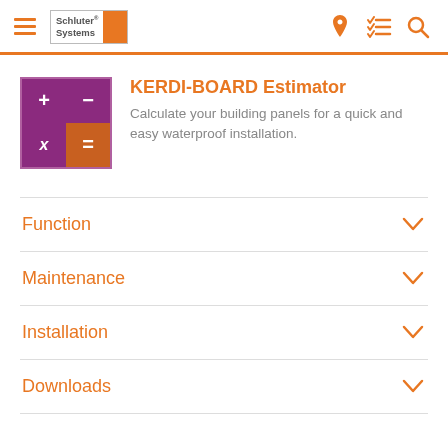Schluter Systems — navigation header with hamburger menu, logo, pin, list, and search icons
KERDI-BOARD Estimator
Calculate your building panels for a quick and easy waterproof installation.
Function
Maintenance
Installation
Downloads